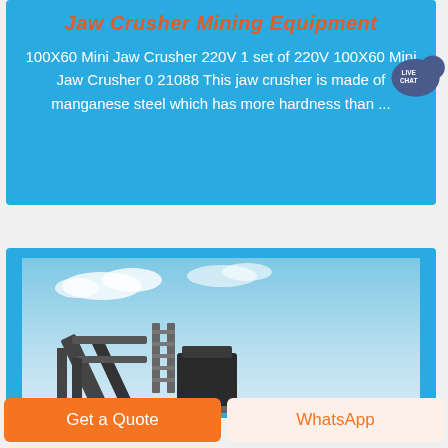Jaw Crusher Mining Equipment
100X60 Mini Jaw Crusher 220V 1 set of 220V 100X60 Mini Jaw Crusher 0 21088 This jaw crusher is made of manganese steel which has more hardness than ...
[Figure (photo): Mining conveyor/crusher machinery photographed from below against a blue sky with clouds]
Get a Quote
WhatsApp